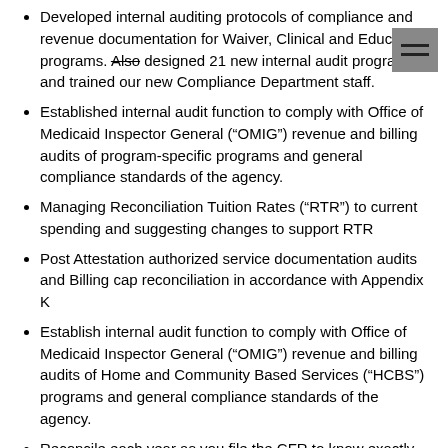Developed internal auditing protocols of compliance and revenue documentation for Waiver, Clinical and Education programs. Also designed 21 new internal audit programs, and trained our new Compliance Department staff.
Established internal audit function to comply with Office of Medicaid Inspector General (“OMIG”) revenue and billing audits of program-specific programs and general compliance standards of the agency.
Managing Reconciliation Tuition Rates (“RTR”) to current spending and suggesting changes to support RTR
Post Attestation authorized service documentation audits and Billing cap reconciliation in accordance with Appendix K
Establish internal audit function to comply with Office of Medicaid Inspector General (“OMIG”) revenue and billing audits of Home and Community Based Services (“HCBS”) programs and general compliance standards of the agency.
Reconcile each year as you file the CFR to know exactly where the agency stands prior to reconciliation. Present the insights to Executive and Financial staff on how their current spending patterns will support their reimbursement and what can be